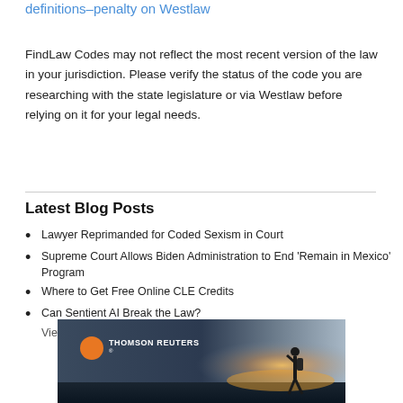definitions–penalty on Westlaw
FindLaw Codes may not reflect the most recent version of the law in your jurisdiction. Please verify the status of the code you are researching with the state legislature or via Westlaw before relying on it for your legal needs.
Latest Blog Posts
Lawyer Reprimanded for Coded Sexism in Court
Supreme Court Allows Biden Administration to End 'Remain in Mexico' Program
Where to Get Free Online CLE Credits
Can Sentient AI Break the Law?
View More »
[Figure (photo): Thomson Reuters advertisement banner with logo and person silhouette against a sunset/backlit background]